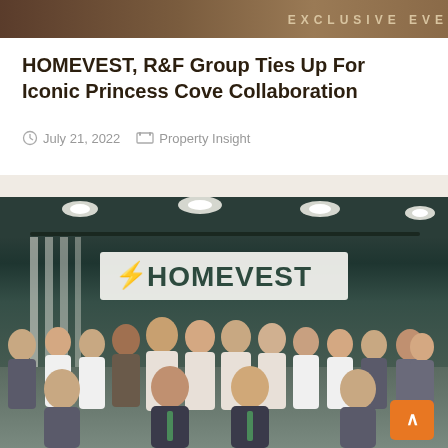[Figure (photo): Top banner with text 'EXCLUSIVE EVE' in spaced letters on a brown/tan gradient background]
HOMEVEST, R&F Group Ties Up For Iconic Princess Cove Collaboration
July 21, 2022   Property Insight
[Figure (photo): Group photo of HOMEVEST team members in professional attire (grey suits and white shirts), posed in front of a HOMEVEST branded backdrop in an office setting. An orange scroll-to-top button is visible in the bottom right corner.]